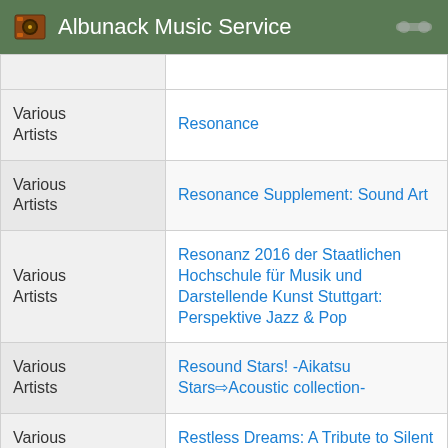Albunack Music Service
| Artist | Album |
| --- | --- |
| Various Artists | Resonance |
| Various Artists | Resonance Supplement: Sound Art |
| Various Artists | Resonanz 2016 der Staatlichen Hochschule für Musik und Darstellende Kunst Stuttgart: Perspektive Jazz & Pop |
| Various Artists | Resound Stars! -Aikatsu Stars! Acoustic collection- |
| Various Artists | Restless Dreams: A Tribute to Silent Hill |